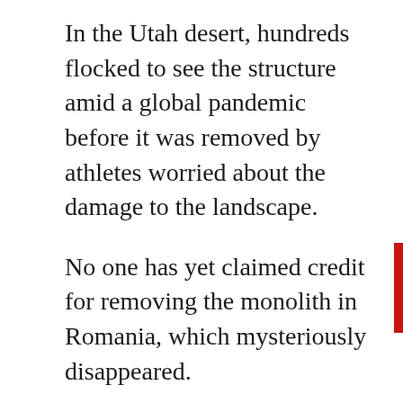In the Utah desert, hundreds flocked to see the structure amid a global pandemic before it was removed by athletes worried about the damage to the landscape.
No one has yet claimed credit for removing the monolith in Romania, which mysteriously disappeared.
In Canada, structures have been found in Manitoba and British Columbia.
Toronto residents have expressed delight and concern after finding the structure, with some calling it “rogue art” and others wondering if there is a higher purpose to the piece.
Speculation among those that spoke to CTV News Toronto includes the possibility that it was placed at the location by aliens, that it may be a